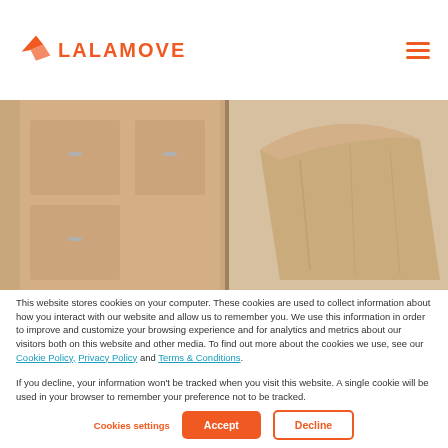LALAMOVE
[Figure (photo): Photo of a paper bag on a kitchen countertop with cabinet drawers in the background, warm tan/beige tones]
This website stores cookies on your computer. These cookies are used to collect information about how you interact with our website and allow us to remember you. We use this information in order to improve and customize your browsing experience and for analytics and metrics about our visitors both on this website and other media. To find out more about the cookies we use, see our Cookie Policy, Privacy Policy and Terms & Conditions.
If you decline, your information won't be tracked when you visit this website. A single cookie will be used in your browser to remember your preference not to be tracked.
Cookies settings   Accept   Decline